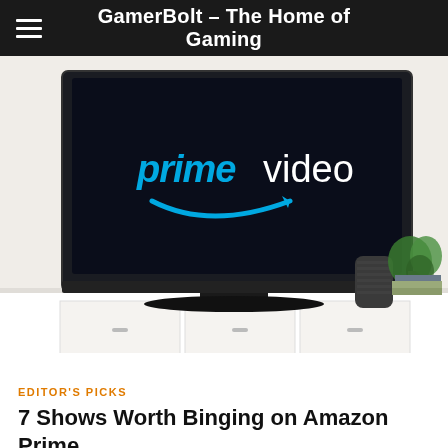GamerBolt – The Home of Gaming
[Figure (photo): Amazon Prime Video logo displayed on a TV screen sitting on a white media console, with a smart speaker and a plant visible to the right.]
EDITOR'S PICKS
7 Shows Worth Binging on Amazon Prime
GamerBolt Team  -  March 3, 2021